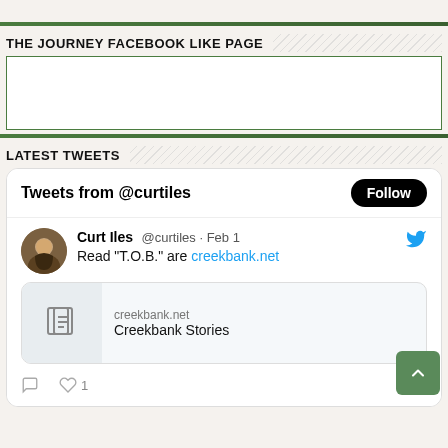THE JOURNEY FACEBOOK LIKE PAGE
[Figure (other): Facebook Like Page embed box (empty white box with green border)]
LATEST TWEETS
[Figure (screenshot): Twitter widget showing tweets from @curtiles. Tweet by Curt Iles @curtiles Feb 1: Read T.O.B. are creekbank.net. Card shows creekbank.net / Creekbank Stories. 1 like.]